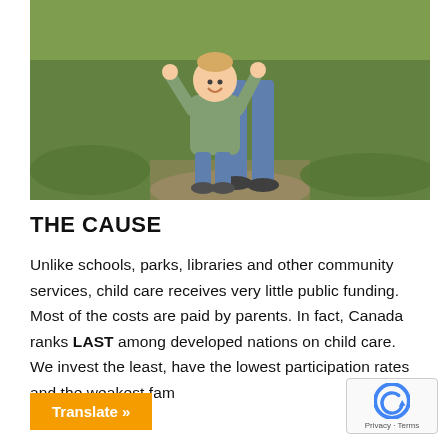[Figure (photo): A toddler in a green jacket and jeans stands on a garden path, arms raised, with an adult standing behind holding the child's hands. Green foliage in background.]
THE CAUSE
Unlike schools, parks, libraries and other community services, child care receives very little public funding. Most of the costs are paid by parents. In fact, Canada ranks LAST among developed nations on child care. We invest the least, have the lowest participation rates and the weakest fam